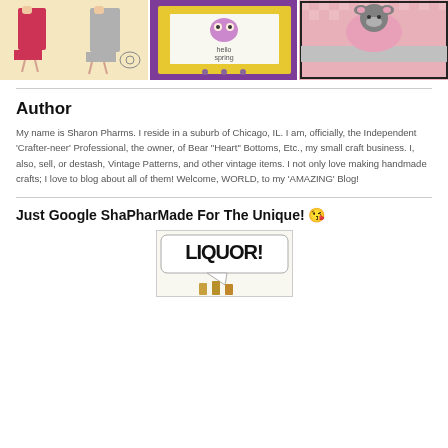[Figure (photo): Three images in a row: vintage dress sewing pattern with women in pink and gray dresses, a hello spring greeting card with owl on yellow/purple background, and a koala craft on pink checkered background]
Author
My name is Sharon Pharms. I reside in a suburb of Chicago, IL. I am, officially, the Independent 'Crafter-neer' Professional, the owner, of Bear "Heart" Bottoms, Etc., my small craft business. I, also, sell, or destash, Vintage Patterns, and other vintage items. I not only love making handmade crafts; I love to blog about all of them! Welcome, WORLD, to my 'AMAZING' Blog!
Just Google ShaPharMade For The Unique! 😘
[Figure (photo): Image of a sign or card reading LIQUOR! in bold black text with an exclamation mark, with bottles visible below]